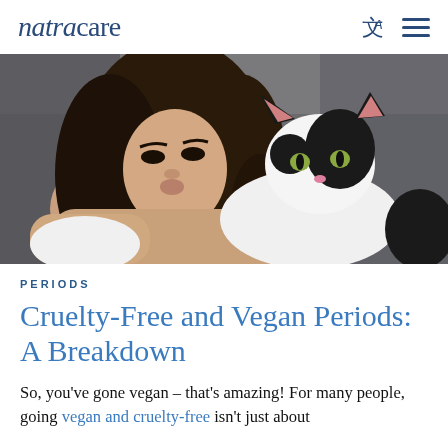natracare
[Figure (photo): A woman with long dark hair holding a black and white cat close to her face, kissing it on the head. The cat is draped over her arms. Background is blurred indoor setting.]
PERIODS
Cruelty-Free and Vegan Periods: A Breakdown
So, you've gone vegan – that's amazing! For many people, going vegan and cruelty-free isn't just about